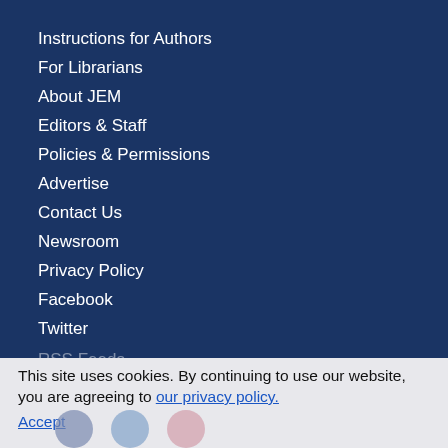Instructions for Authors
For Librarians
About JEM
Editors & Staff
Policies & Permissions
Advertise
Contact Us
Newsroom
Privacy Policy
Facebook
Twitter
RSS Feeds
Instagram
This site uses cookies. By continuing to use our website, you are agreeing to our privacy policy.
Accept